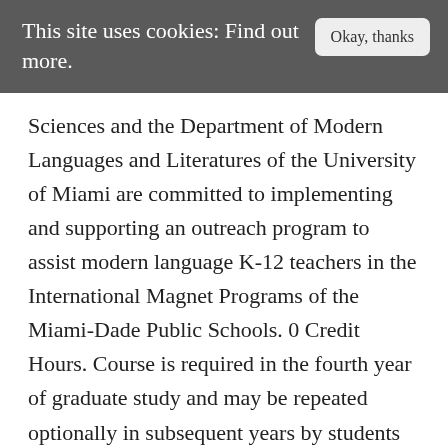This site uses cookies: Find out more.
Okay, thanks
Sciences and the Department of Modern Languages and Literatures of the University of Miami are committed to implementing and supporting an outreach program to assist modern language K-12 teachers in the International Magnet Programs of the Miami-Dade Public Schools. 0 Credit Hours. Course is required in the fourth year of graduate study and may be repeated optionally in subsequent years by students in advanced stages of dissertation writing.Prerequisite: SPA 830 or FRE 830.Components: SEM.Grading: